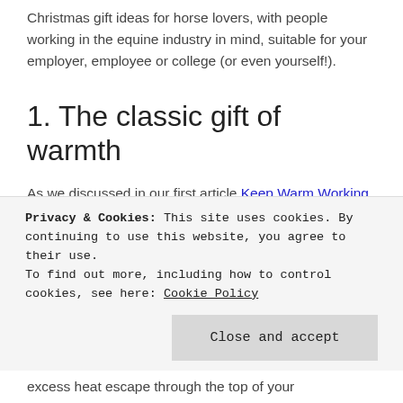Christmas gift ideas for horse lovers, with people working in the equine industry in mind, suitable for your employer, employee or college (or even yourself!).
1. The classic gift of warmth
As we discussed in our first article Keep Warm Working with Horses this Winter the fight against chill blains and frozen toes is real. Few who spend the majority of their working day exposed to the elements wouldn't appreciate another item in their
Privacy & Cookies: This site uses cookies. By continuing to use this website, you agree to their use.
To find out more, including how to control cookies, see here: Cookie Policy
Close and accept
excess heat escape through the top of your